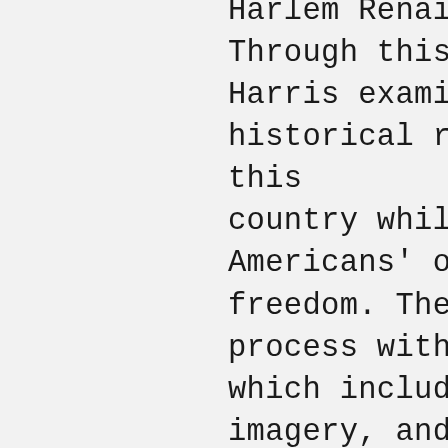Harlem Renaissance poetry. Through this work, Daesha Devón Harris examines current and historical racial ideologies in this country while highlighting Black Americans' ongoing struggle for freedom. The artist begins her process with extensive research, which includes collecting stories, imagery, and other memorabilia. She then makes transparencies of vintage cartes de visite and cabinet card portraits she has collected and places them in water alongside rocks and flora to create aquatic still lifes. All of Harris' work is photographed in her hometown of Saratoga Springs and the